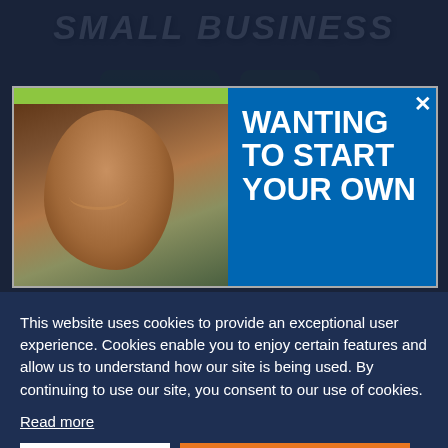[Figure (screenshot): Background page showing 'SMALL BUSINESS' text in large italic white letters on dark background, with a partial advertisement banner popup showing a smiling person and 'WANTING TO START YOUR OWN' text, and a cookie consent dialog overlaying most of the page.]
This website uses cookies to provide an exceptional user experience. Cookies enable you to enjoy certain features and allow us to understand how our site is being used. By continuing to use our site, you consent to our use of cookies.
Read more
Decline
Accept Cookies